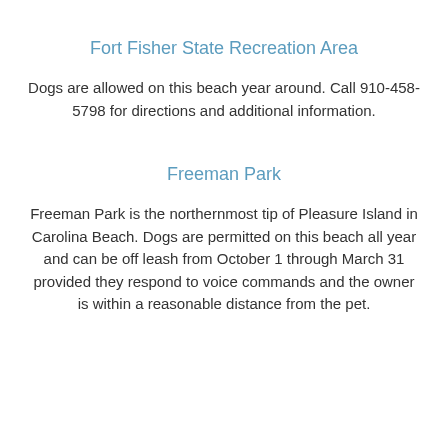Fort Fisher State Recreation Area
Dogs are allowed on this beach year around. Call 910-458-5798 for directions and additional information.
Freeman Park
Freeman Park is the northernmost tip of Pleasure Island in Carolina Beach. Dogs are permitted on this beach all year and can be off leash from October 1 through March 31 provided they respond to voice commands and the owner is within a reasonable distance from the pet.